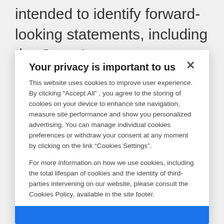intended to identify forward-looking statements, including the Group's
Your privacy is important to us
This website uses cookies to improve user experience. By clicking “Accept All” , you agree to the storing of cookies on your device to enhance site navigation, measure site performance and show you personalized advertising. You can manage individual cookies preferences or withdraw your consent at any moment by clicking on the link “Cookies Settings”.
For more information on how we use cookies, including the total lifespan of cookies and the identity of third-parties intervening on our website, please consult the Cookies Policy, available in the site footer.
Cookies settings
Accept all